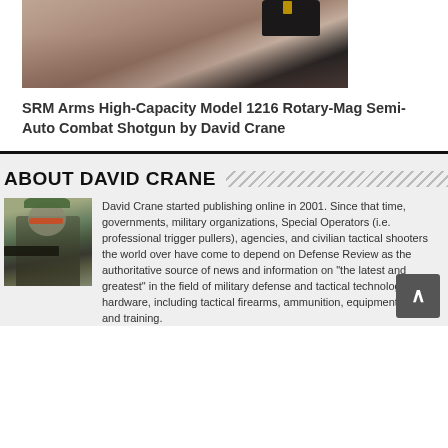[Figure (photo): Close-up photo of a shotgun with yellow attachment on a pink/mauve fabric background]
SRM Arms High-Capacity Model 1216 Rotary-Mag Semi-Auto Combat Shotgun by David Crane
ABOUT DAVID CRANE
[Figure (photo): Photo of David Crane wearing a cap and shooting glasses, holding a firearm outdoors]
David Crane started publishing online in 2001. Since that time, governments, military organizations, Special Operators (i.e. professional trigger pullers), agencies, and civilian tactical shooters the world over have come to depend on Defense Review as the authoritative source of news and information on "the latest and greatest" in the field of military defense and tactical technology and hardware, including tactical firearms, ammunition, equipment, gear, and training.